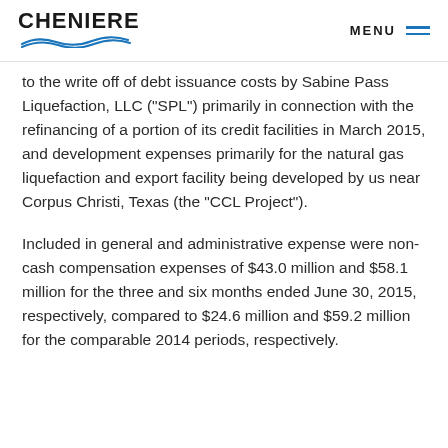CHENIERE  MENU
to the write off of debt issuance costs by Sabine Pass Liquefaction, LLC ("SPL") primarily in connection with the refinancing of a portion of its credit facilities in March 2015, and development expenses primarily for the natural gas liquefaction and export facility being developed by us near Corpus Christi, Texas (the "CCL Project").
Included in general and administrative expense were non-cash compensation expenses of $43.0 million and $58.1 million for the three and six months ended June 30, 2015, respectively, compared to $24.6 million and $59.2 million for the comparable 2014 periods, respectively.